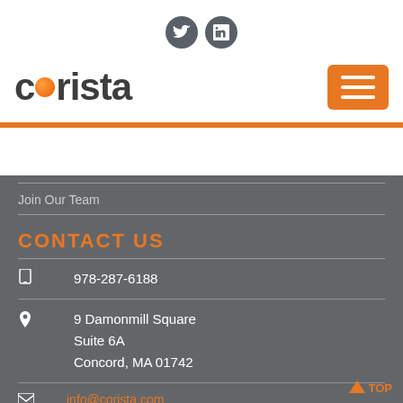[Figure (logo): Corista company logo with orange dot replacing the 'o' in corista, plus hamburger menu button on right]
Join Our Team
CONTACT US
978-287-6188
9 Damonmill Square
Suite 6A
Concord, MA 01742
info@corista.com
[Figure (illustration): White circle social icons: Twitter bird and LinkedIn 'in']
GET IN TOUCH